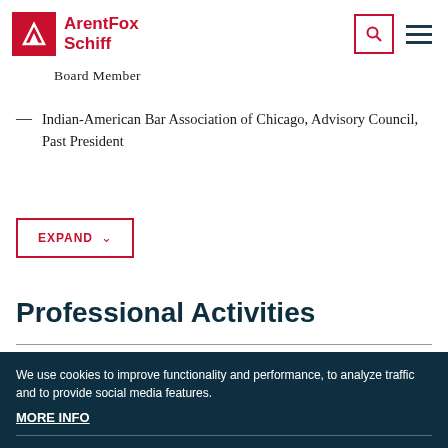ArentFox Schiff
Board Member
Indian-American Bar Association of Chicago, Advisory Council, Past President
EXPAND
Professional Activities
We use cookies to improve functionality and performance, to analyze traffic and to provide social media features.
MORE INFO
Cookie Settings   Accept Cookies